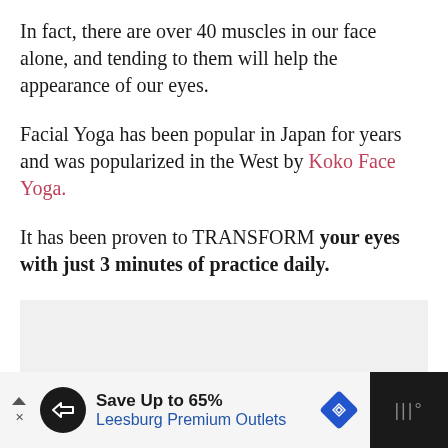In fact, there are over 40 muscles in our face alone, and tending to them will help the appearance of our eyes.
Facial Yoga has been popular in Japan for years and was popularized in the West by Koko Face Yoga.
It has been proven to TRANSFORM your eyes with just 3 minutes of practice daily.
[Figure (other): Gray placeholder box for an image or video embed]
Save Up to 65% Leesburg Premium Outlets — advertisement banner